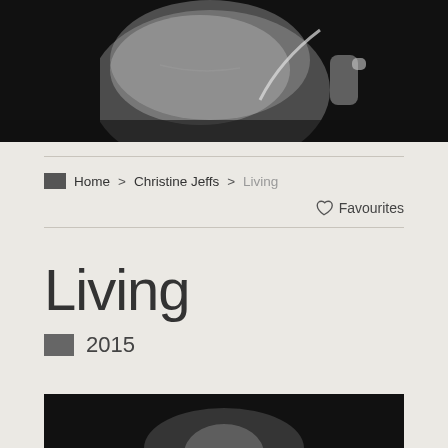[Figure (photo): Black and white close-up photo of a person's torso/abdomen area, appears to be a medical or artistic photograph, with a hand visible]
Home > Christine Jeffs > Living
♡ Favourites
Living
2015
[Figure (photo): Black and white photo, partially visible at bottom of page]